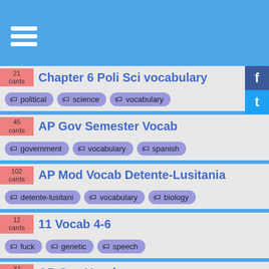Menu / navigation header with hamburger icon
21 cards - Chapter 6 Poli Sci vocabulary - tags: political, science, vocabulary
45 cards - AP Gov Semester Vocab - tags: government, vocabulary, spanish
102 cards - AP Mod Vocab Detente-Lusitania - tags: detente-lusitani, vocabulary, biology
12 cards - 11 Vocab 4-6 - tags: fuck, genetic, speech
37 cards - AP Gov Vocab - tags: constituion, government, french
34 cards - AP Gov Vocab 2 - tags: federalism, city, health, s...
40 cards - Czech Vocabulary 4